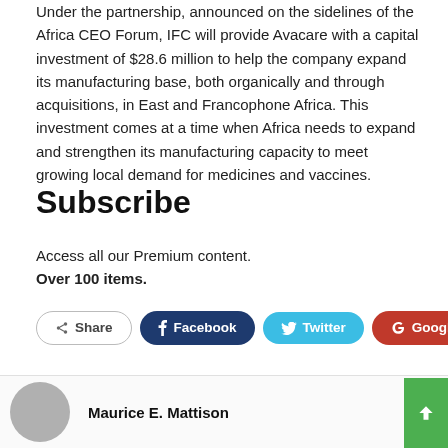Under the partnership, announced on the sidelines of the Africa CEO Forum, IFC will provide Avacare with a capital investment of $28.6 million to help the company expand its manufacturing base, both organically and through acquisitions, in East and Francophone Africa. This investment comes at a time when Africa needs to expand and strengthen its manufacturing capacity to meet growing local demand for medicines and vaccines.
Subscribe
Access all our Premium content.
Over 100 items.
[Figure (infographic): Social share buttons row: Share, Facebook, Twitter, Google+, and a plus button]
Maurice E. Mattison